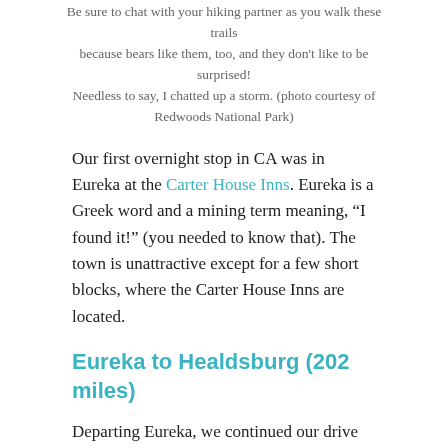Be sure to chat with your hiking partner as you walk these trails because bears like them, too, and they don't like to be surprised! Needless to say, I chatted up a storm. (photo courtesy of Redwoods National Park)
Our first overnight stop in CA was in Eureka at the Carter House Inns. Eureka is a Greek word and a mining term meaning, “I found it!” (you needed to know that). The town is unattractive except for a few short blocks, where the Carter House Inns are located.
Eureka to Healdsburg (202 miles)
Departing Eureka, we continued our drive down the stunning California coast through Mendocino (Did you know that “Murder, She Wrote” was filmed here?). Mendocino is a beautiful, small (pop. 900) town, perched on a rocky cliff. Visit the Mendocino